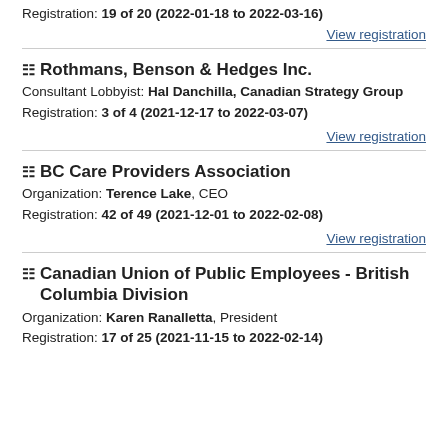Registration: 19 of 20 (2022-01-18 to 2022-03-16)
View registration
Rothmans, Benson & Hedges Inc.
Consultant Lobbyist: Hal Danchilla, Canadian Strategy Group
Registration: 3 of 4 (2021-12-17 to 2022-03-07)
View registration
BC Care Providers Association
Organization: Terence Lake, CEO
Registration: 42 of 49 (2021-12-01 to 2022-02-08)
View registration
Canadian Union of Public Employees - British Columbia Division
Organization: Karen Ranalletta, President
Registration: 17 of 25 (2021-11-15 to 2022-02-14)